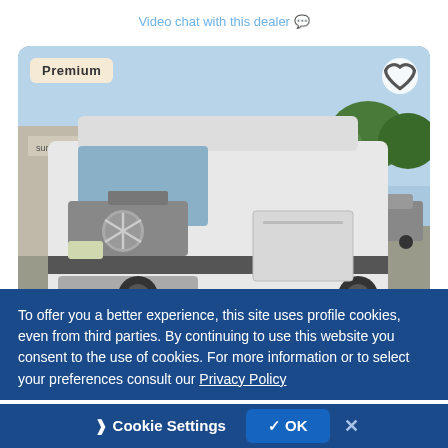Video chat with this dealer 💬
[Figure (photo): White Mercedes-Benz Sprinter van parked in a lot in front of a 'Surface Finishes' building. Blue sky with trees visible. Premium badge in top-left corner, heart icon in top-right corner, media count showing 1 video and 20 photos in bottom-right corner.]
To offer you a better experience, this site uses profile cookies, even from third parties. By continuing to use this website you consent to the use of cookies. For more information or to select your preferences consult our Privacy Policy
Cookie Settings  ✓ OK  ✕